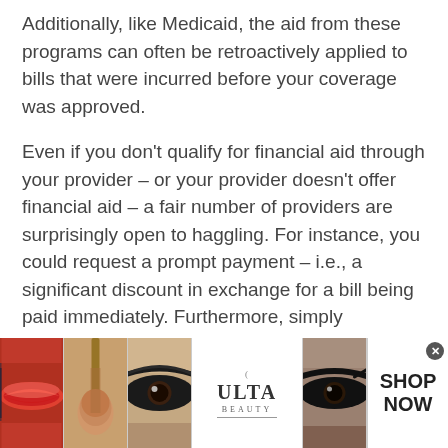Additionally, like Medicaid, the aid from these programs can often be retroactively applied to bills that were incurred before your coverage was approved.
Even if you don’t qualify for financial aid through your provider – or your provider doesn’t offer financial aid – a fair number of providers are surprisingly open to haggling. For instance, you could request a prompt payment – i.e., a significant discount in exchange for a bill being paid immediately. Furthermore, simply informing certain providers that you lack good
[Figure (photo): Ulta Beauty advertisement banner showing makeup-related images (lips with red lipstick, makeup brush, eye with dark makeup, Ulta Beauty logo, another eye with dark makeup) with 'SHOP NOW' call to action button and an X close button.]